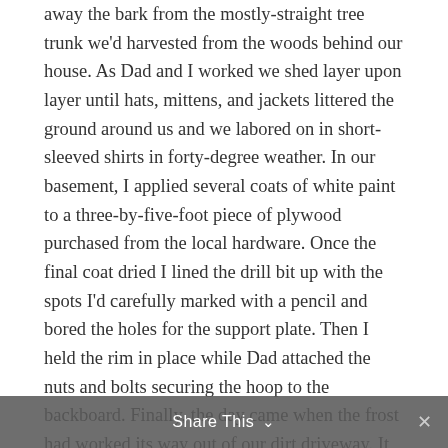away the bark from the mostly-straight tree trunk we'd harvested from the woods behind our house. As Dad and I worked we shed layer upon layer until hats, mittens, and jackets littered the ground around us and we labored on in short-sleeved shirts in forty-degree weather. In our basement, I applied several coats of white paint to a three-by-five-foot piece of plywood purchased from the local hardware. Once the final coat dried I lined the drill bit up with the spots I'd carefully marked with a pencil and bored the holes for the support plate. Then I held the rim in place while Dad attached the nuts and bolts securing the hoop to the backboard. Finally, the day came when the frost had worked its way out of our dirt driveway. It was time to install the pole!
A friend's father helped Dad dig a deep hole in front of the divider of our two-car garage. I watched while they set an industrial-sized can into the opening and back-filled the space around the can with loose rocks
Share This ∨  ✕